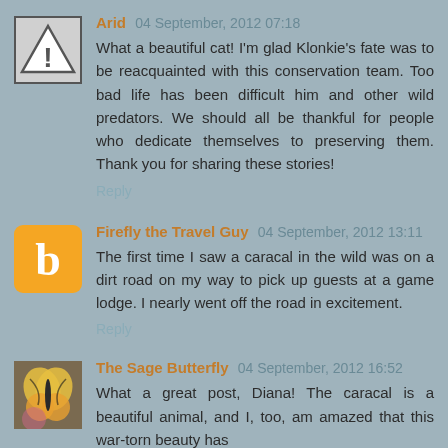Arid 04 September, 2012 07:18
What a beautiful cat! I'm glad Klonkie's fate was to be reacquainted with this conservation team. Too bad life has been difficult him and other wild predators. We should all be thankful for people who dedicate themselves to preserving them. Thank you for sharing these stories!
Reply
Firefly the Travel Guy 04 September, 2012 13:11
The first time I saw a caracal in the wild was on a dirt road on my way to pick up guests at a game lodge. I nearly went off the road in excitement.
Reply
The Sage Butterfly 04 September, 2012 16:52
What a great post, Diana! The caracal is a beautiful animal, and I, too, am amazed that this war-torn beauty has